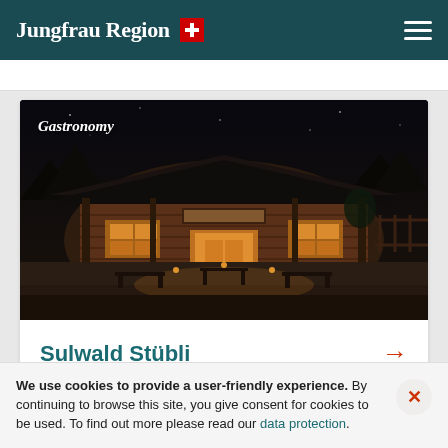Jungfrau Region
[Figure (photo): Night photo of a traditional Swiss alpine wooden restaurant/chalet called Sulwald Stübli, illuminated from inside with warm light, outdoor seating visible, snow on ground, dark sky background. Text overlay reads 'Gastronomy' in italic white.]
Sulwald Stübli
We use cookies to provide a user-friendly experience. By continuing to browse this site, you give consent for cookies to be used. To find out more please read our data protection.